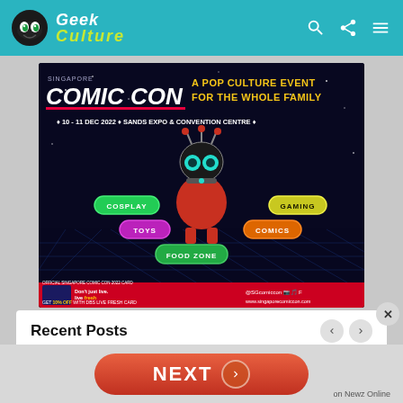Geek Culture
[Figure (illustration): Singapore Comic Con 2022 promotional banner: dark space background, robot mascot, categories: COSPLAY, GAMING, TOYS, COMICS, FOOD ZONE. Event: 10-11 DEC 2022, Sands Expo & Convention Centre. Official DBS Live Fresh Card partnership.]
Recent Posts
LG's New 42-inch
[Figure (screenshot): NEXT button with right arrow, coral/red color, on Newz Online branding]